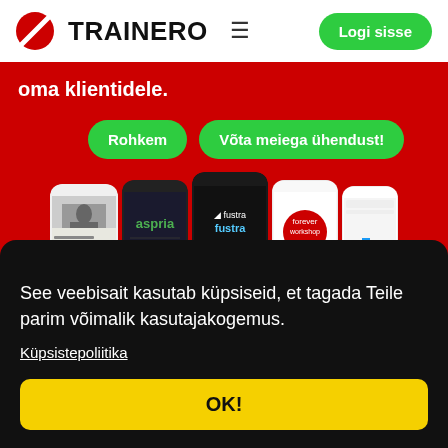TRAINERO  ≡   Logi sisse
oma klientidele.
Rohkem | Võta meiega ühendust!
[Figure (screenshot): Row of mobile phone mockups showing various app screens including aspria, fustra, forever and other branded apps on a red background]
See veebisait kasutab küpsiseid, et tagada Teile parim võimalik kasutajakogemus.
Küpsistepoliitika
OK!